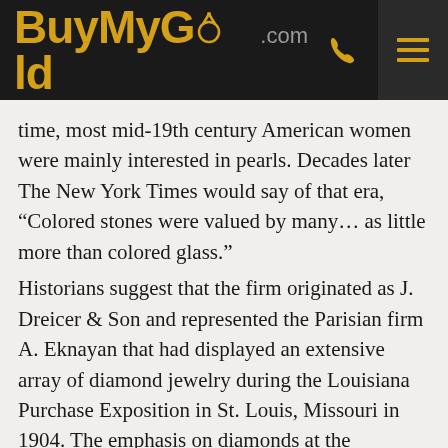BuyMyGold.com
time, most mid-19th century American women were mainly interested in pearls. Decades later The New York Times would say of that era, “Colored stones were valued by many… as little more than colored glass.” Historians suggest that the firm originated as J. Dreicer & Son and represented the Parisian firm A. Eknayan that had displayed an extensive array of diamond jewelry during the Louisiana Purchase Exposition in St. Louis, Missouri in 1904. The emphasis on diamonds at the exposition characterized the Dreicer firm’s production and resulted in its growing reputation from about 1910 through the early 1920s.
Although Dreicer & Company’s designs evoked eighteenth-century court styles, their execution relied on